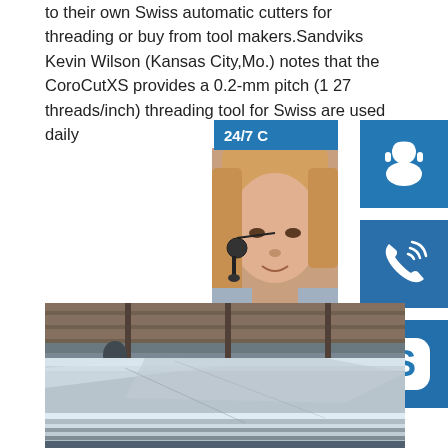to their own Swiss automatic cutters for threading or buy from tool makers.Sandviks Kevin Wilson (Kansas City,Mo.) notes that the CoroCutXS provides a 0.2-mm pitch (127 threads/inch) threading tool for Swiss are used daily
[Figure (infographic): Customer service sidebar showing 24/7 support with headset icon, phone icon, Skype icon, and 'online live' button overlaid on a customer service representative photo]
[Figure (photo): Industrial warehouse photo showing large stainless steel or metal sheets stacked on a rack/storage system in a factory setting]